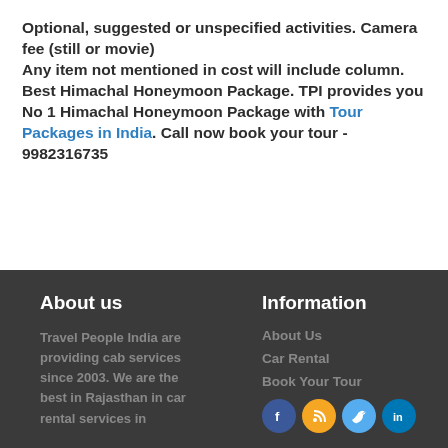Optional, suggested or unspecified activities. Camera fee (still or movie)
Any item not mentioned in cost will include column.
Best Himachal Honeymoon Package. TPI provides you No 1 Himachal Honeymoon Package with Tour Packages in India. Call now book your tour - 9982316735
About us
Information
Travel People India are providing cab services since 2003. We are the best in Rajasthan in car rental services in
About Us
Car Rental
Book Your Tour